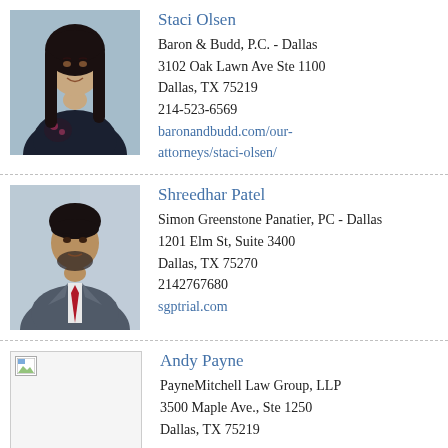[Figure (photo): Professional headshot of Staci Olsen, a woman with long dark hair, smiling, wearing a dark top with floral pattern]
Staci Olsen
Baron & Budd, P.C. - Dallas
3102 Oak Lawn Ave Ste 1100
Dallas, TX 75219
214-523-6569
baronandbudd.com/our-attorneys/staci-olsen/
[Figure (photo): Professional headshot of Shreedhar Patel, a man with short dark hair and beard, wearing a grey suit with red tie]
Shreedhar Patel
Simon Greenstone Panatier, PC - Dallas
1201 Elm St, Suite 3400
Dallas, TX 75270
2142767680
sgptrial.com
[Figure (photo): Placeholder image (broken/missing photo) for Andy Payne]
Andy Payne
PayneMitchell Law Group, LLP
3500 Maple Ave., Ste 1250
Dallas, TX 75219